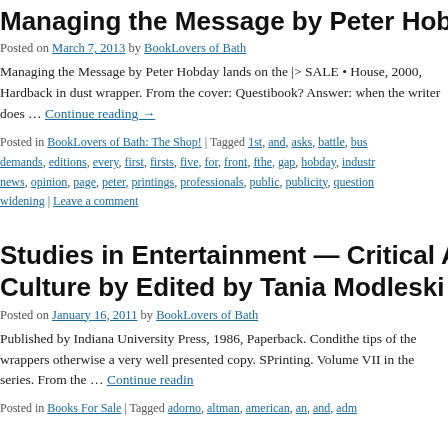Managing the Message by Peter Hobday
Posted on March 7, 2013 by BookLovers of Bath
Managing the Message by Peter Hobday lands on the |> SALE • House, 2000, Hardback in dust wrapper. From the cover: Questi book? Answer: when the writer does … Continue reading →
Posted in BookLovers of Bath: The Shop! | Tagged 1st, and, asks, battle, bus demands, editions, every, first, firsts, five, for, front, fthe, gap, hobday, industr news, opinion, page, peter, printings, professionals, public, publicity, question widening | Leave a comment
Studies in Entertainment — Critical Appro Culture by Edited by Tania Modleski
Posted on January 16, 2011 by BookLovers of Bath
Published by Indiana University Press, 1986, Paperback. Condi the tips of the wrappers otherwise a very well presented copy. S Printing. Volume VII in the series. From the … Continue readin
Posted in Books For Sale | Tagged adorno, altman, american, an, and, adm